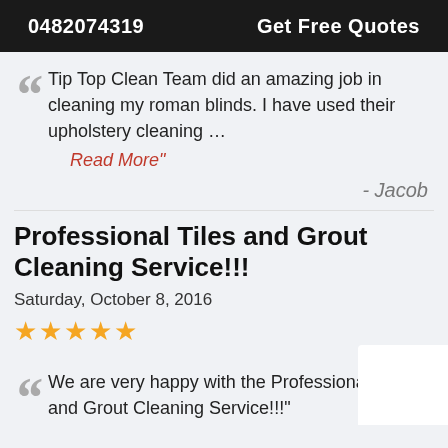0482074319   Get Free Quotes
Tip Top Clean Team did an amazing job in cleaning my roman blinds. I have used their upholstery cleaning …
Read More"
- Jacob
Professional Tiles and Grout Cleaning Service!!!
Saturday, October 8, 2016
★★★★★
We are very happy with the Professional Tiles and Grout Cleaning Service!!!"